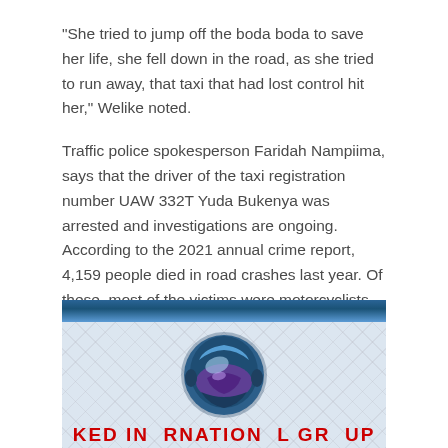“She tried to jump off the boda boda to save her life, she fell down in the road, as she tried to run away, that taxi that had lost control hit her,” Welike noted.
Traffic police spokesperson Faridah Nampiima, says that the driver of the taxi registration number UAW 332T Yuda Bukenya was arrested and investigations are ongoing. According to the 2021 annual crime report, 4,159 people died in road crashes last year. Of these, most of the victims were motorcyclists followed by passengers on motorcycles.
[Figure (logo): KED International Group logo with blue metallic banner at top, diamond-plate metal background, a blue and purple spherical globe/motorcycle helmet logo in the center, and red bold text at the bottom reading KED INTERNATIONAL GROUP]